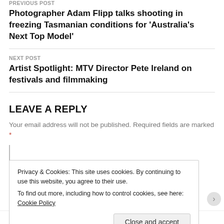PREVIOUS POST
Photographer Adam Flipp talks shooting in freezing Tasmanian conditions for 'Australia's Next Top Model'
NEXT POST
Artist Spotlight: MTV Director Pete Ireland on festivals and filmmaking
LEAVE A REPLY
Your email address will not be published. Required fields are marked *
Privacy & Cookies: This site uses cookies. By continuing to use this website, you agree to their use.
To find out more, including how to control cookies, see here: Cookie Policy
Close and accept
WordPress works best